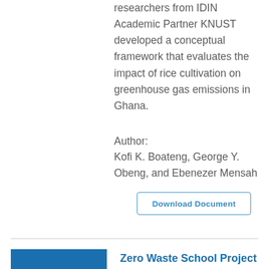researchers from IDIN Academic Partner KNUST developed a conceptual framework that evaluates the impact of rice cultivation on greenhouse gas emissions in Ghana.
Author:
Kofi K. Boateng, George Y. Obeng, and Ebenezer Mensah
Download Document
Zero Waste School Project